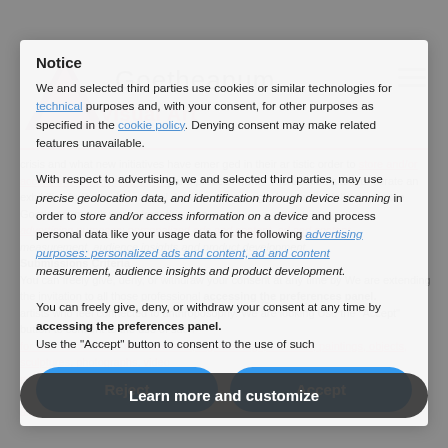[Figure (screenshot): Goetheanum Visual Art website background, partially obscured by cookie consent overlay. Shows Goetheanum logo with triangle graphic, 'Visual Art' text in dark pink, hamburger menu icon, and article text about Submissions Criteria.]
Notice
We and selected third parties use cookies or similar technologies for technical purposes and, with your consent, for other purposes as specified in the cookie policy. Denying consent may make related features unavailable.
With respect to advertising, we and selected third parties, may use precise geolocation data, and identification through device scanning in order to store and/or access information on a device and process personal data like your usage data for the following advertising purposes: personalized ads and content, ad and content measurement, audience insights and product development.
You can freely give, deny, or withdraw your consent at any time by accessing the preferences panel.
Use the "Accept" button to consent to the use of such
Reject
Accept
Learn more and customize